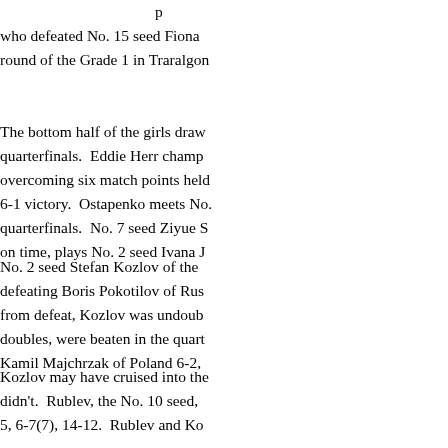who defeated No. 15 seed Fiona round of the Grade 1 in Traralgon
The bottom half of the girls draw quarterfinals. Eddie Herr champ overcoming six match points held 6-1 victory. Ostapenko meets No quarterfinals. No. 7 seed Ziyue S on time, plays No. 2 seed Ivana J
No. 2 seed Stefan Kozlov of the defeating Boris Pokotilov of Rus from defeat, Kozlov was undoub doubles, were beaten in the quart Kamil Majchrzak of Poland 6-2,
Kozlov may have cruised into the didn't. Rublev, the No. 10 seed, 5, 6-7(7), 14-12. Rublev and Ko